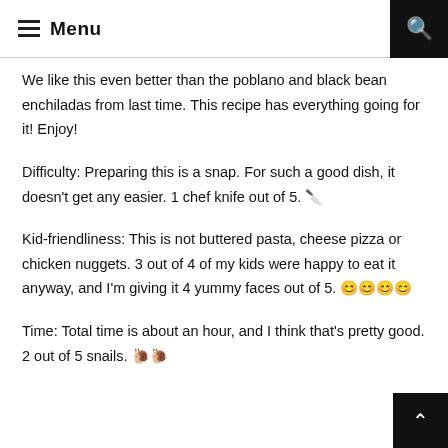≡ Menu
We like this even better than the poblano and black bean enchiladas from last time. This recipe has everything going for it! Enjoy!
Difficulty: Preparing this is a snap. For such a good dish, it doesn't get any easier. 1 chef knife out of 5. 🔪
Kid-friendliness: This is not buttered pasta, cheese pizza or chicken nuggets. 3 out of 4 of my kids were happy to eat it anyway, and I'm giving it 4 yummy faces out of 5. 😊😊😊😊
Time: Total time is about an hour, and I think that's pretty good. 2 out of 5 snails. 🐌🐌